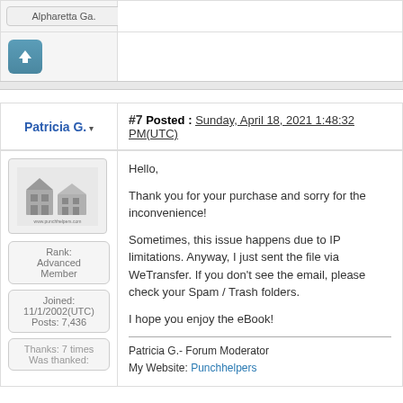Alpharetta Ga.
[Figure (other): Upvote/thumbs-up button icon (teal/blue square with white upward arrow)]
Patricia G. ▾
#7 Posted : Sunday, April 18, 2021 1:48:32 PM(UTC)
[Figure (photo): Small avatar image with building/house illustration and website URL]
Rank: Advanced Member
Joined: 11/1/2002(UTC)
Posts: 7,436
Thanks: 7 times
Was thanked:
Hello,

Thank you for your purchase and sorry for the inconvenience!

Sometimes, this issue happens due to IP limitations. Anyway, I just sent the file via WeTransfer. If you don't see the email, please check your Spam / Trash folders.

I hope you enjoy the eBook!
Patricia G.- Forum Moderator
My Website: Punchhelpers